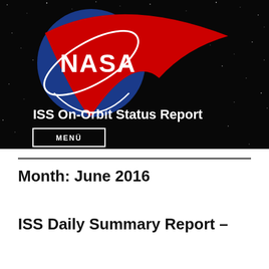[Figure (logo): NASA meatball logo — blue circle with white NASA text and red swoosh, white orbital ring]
ISS On-Orbit Status Report
MENU
Month: June 2016
ISS Daily Summary Report –